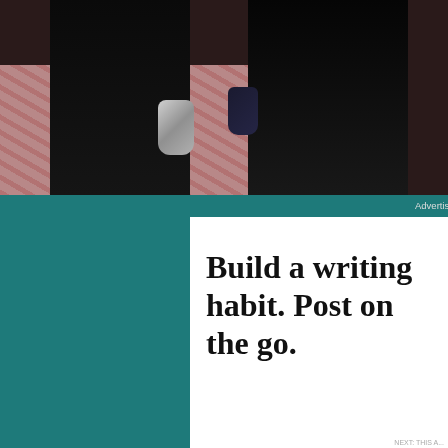[Figure (photo): Photo of two people in dark clothing with robotic/armored gauntlets, standing on a patterned carpet. Only lower bodies visible.]
Advertisements
[Figure (screenshot): Advertisement for WordPress app. Teal/dark blue background on left. White background on right with text: 'Build a writing habit. Post on the go.' and blue link text 'GET THE APP' with WordPress circular logo icon. Close button (X) in lower right corner.]
Advertisement ↑
[Figure (screenshot): Advertisement for DuckDuckGo. Orange/red background. White bold text: 'Search, browse, and email with more privacy.' White rounded rectangle button with orange text: 'All in One Free App'. On the right, a smartphone showing DuckDuckGo app with the duck logo and 'DuckDuckGo.' text below.]